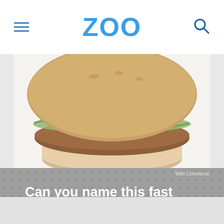ZOO
[Figure (photo): Close-up photo of a fried chicken sandwich on a white bun with lettuce, on a white background]
Wiki Commons
Can you name this fast food offering?
Taco Bell Cinnamon Twists
McDonald's McChicken